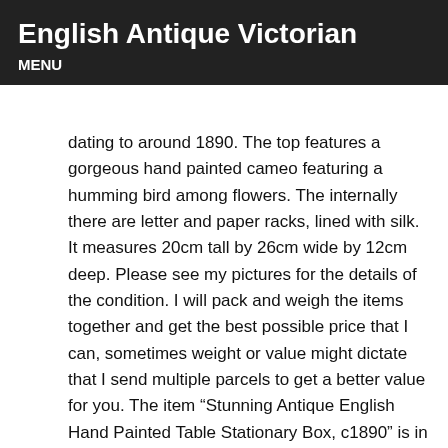English Antique Victorian
MENU
dating to around 1890. The top features a gorgeous hand painted cameo featuring a humming bird among flowers. The internally there are letter and paper racks, lined with silk. It measures 20cm tall by 26cm wide by 12cm deep. Please see my pictures for the details of the condition. I will pack and weigh the items together and get the best possible price that I can, sometimes weight or value might dictate that I send multiple parcels to get a better value for you. The item “Stunning Antique English Hand Painted Table Stationary Box, c1890” is in sale since Wednesday, September 9, 2020. This item is in the category “Antiques\Woodenware\Boxes”. The seller is “deewainhouse” and is located in Washaway. This item can be shipped worldwide